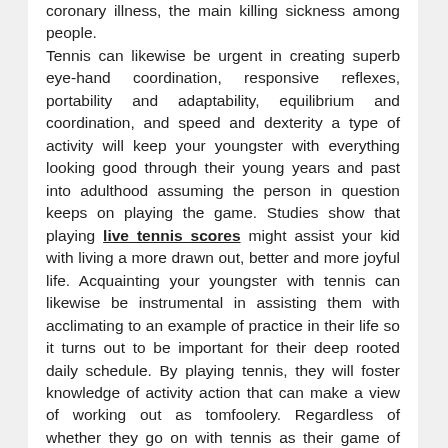coronary illness, the main killing sickness among people. Tennis can likewise be urgent in creating superb eye-hand coordination, responsive reflexes, portability and adaptability, equilibrium and coordination, and speed and dexterity a type of activity will keep your youngster with everything looking good through their young years and past into adulthood assuming the person in question keeps on playing the game. Studies show that playing live tennis scores might assist your kid with living a more drawn out, better and more joyful life. Acquainting your youngster with tennis can likewise be instrumental in assisting them with acclimating to an example of practice in their life so it turns out to be important for their deep rooted daily schedule. By playing tennis, they will foster knowledge of activity action that can make a view of working out as tomfoolery. Regardless of whether they go on with tennis as their game of decision in last year's, it will have made an agreeable relationship with staying in shape as